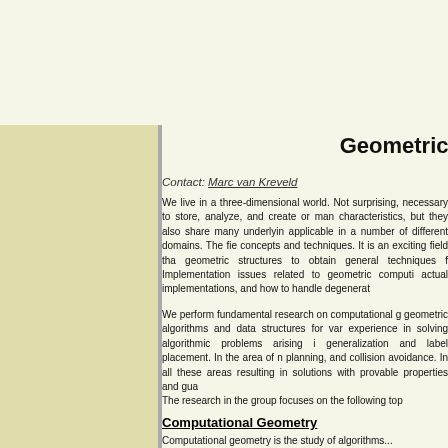Geometric
Contact: Marc van Kreveld
We live in a three-dimensional world. Not surprising, it is necessary to store, analyze, and create or manipulate geometric characteristics, but they also share many underlying applicable in a number of different domains. The field of concepts and techniques. It is an exciting field that geometric structures to obtain general techniques for Implementation issues related to geometric computation actual implementations, and how to handle degenerate
We perform fundamental research on computational geometry geometric algorithms and data structures for various experience in solving algorithmic problems arising in generalization and label placement. In the area of planning, and collision avoidance. In all these areas resulting in solutions with provable properties and guaranteed
The research in the group focuses on the following topics:
Computational Geometry
Computational geometry is the study of algorithms...